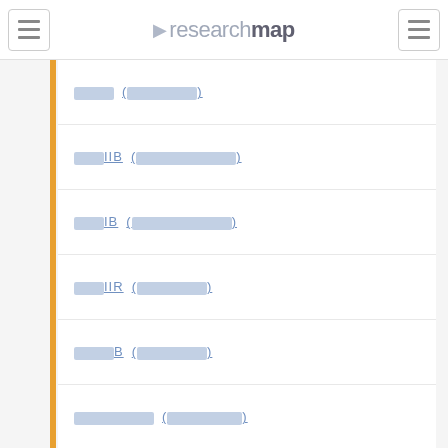researchmap
[redacted] ([redacted])
[redacted]IIB ([redacted])
[redacted]IB ([redacted])
[redacted]IIR ([redacted])
[redacted]B ([redacted])
[redacted] ([redacted])
[redacted] ([redacted])
[redacted] ([redacted])
[redacted] ([redacted])
[redacted]L ([redacted])